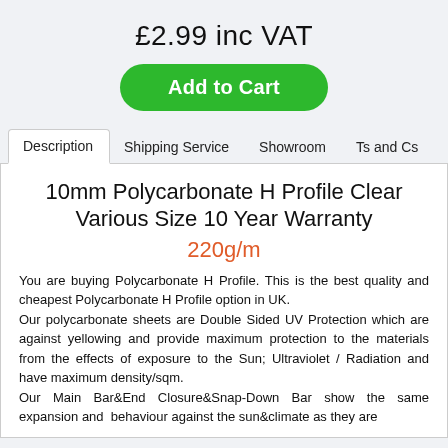£2.99 inc VAT
Add to Cart
Description | Shipping Service | Showroom | Ts and Cs
10mm Polycarbonate H Profile Clear Various Size 10 Year Warranty
220g/m
You are buying Polycarbonate H Profile. This is the best quality and cheapest Polycarbonate H Profile option in UK. Our polycarbonate sheets are Double Sided UV Protection which are against yellowing and provide maximum protection to the materials from the effects of exposure to the Sun; Ultraviolet / Radiation and have maximum density/sqm. Our Main Bar&End Closure&Snap-Down Bar show the same expansion and behaviour against the sun&climate as they are